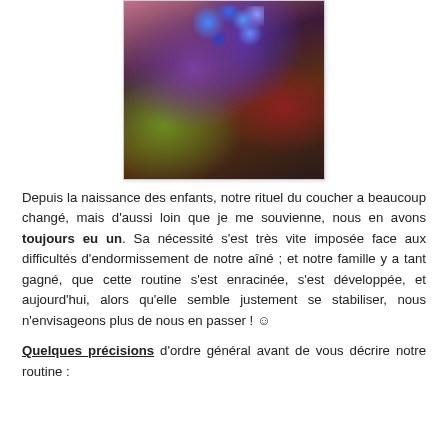[Figure (photo): Dark photo of a child in bed with blue light projections visible above, colorful stuffed animals and bedding visible.]
Depuis la naissance des enfants, notre rituel du coucher a beaucoup changé, mais d'aussi loin que je me souvienne, nous en avons toujours eu un. Sa nécessité s'est très vite imposée face aux difficultés d'endormissement de notre aîné ; et notre famille y a tant gagné, que cette routine s'est enracinée, s'est développée, et aujourd'hui, alors qu'elle semble justement se stabiliser, nous n'envisageons plus de nous en passer ! 🙂
Quelques précisions d'ordre général avant de vous décrire notre routine :